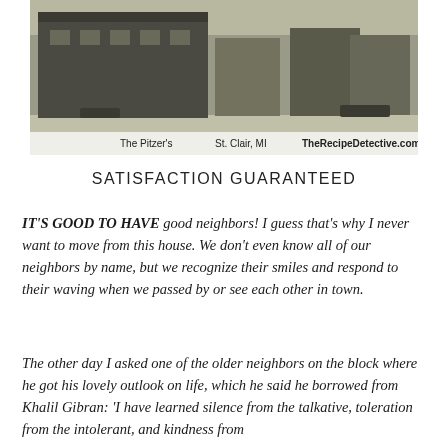[Figure (photo): Black and white or faded color photograph of a street scene with buildings, captioned with 'The Pitzer's   St. Clair, MI   TheRecipeDetective.com']
SATISFACTION GUARANTEED
IT'S GOOD TO HAVE good neighbors! I guess that's why I never want to move from this house. We don't even know all of our neighbors by name, but we recognize their smiles and respond to their waving when we passed by or see each other in town.
The other day I asked one of the older neighbors on the block where he got his lovely outlook on life, which he said he borrowed from Khalil Gibran: 'I have learned silence from the talkative, toleration from the intolerant, and kindness from